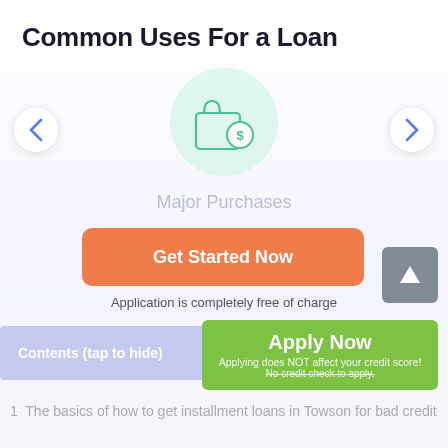Common Uses For a Loan
[Figure (illustration): Shopping bag icon with a dollar sign tag, centered in a light green circular background, representing major purchases]
Major Purchases
Get Started Now
Application is completely free of charge
Contents (tap to hide)
Apply Now
Applying does NOT affect your credit score!
No credit check to apply.
1  The basics of how to get installment loans in Towson for bad credit